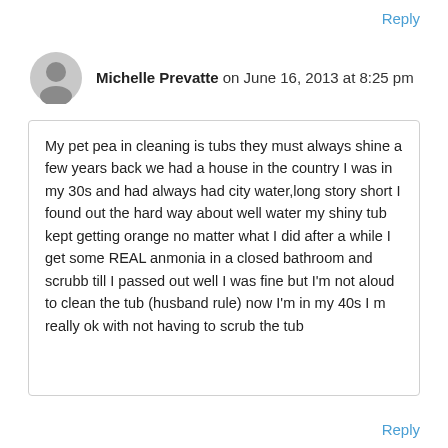Reply
Michelle Prevatte on June 16, 2013 at 8:25 pm
My pet pea in cleaning is tubs they must always shine a few years back we had a house in the country I was in my 30s and had always had city water,long story short I found out the hard way about well water my shiny tub kept getting orange no matter what I did after a while I get some REAL anmonia in a closed bathroom and scrubb till I passed out well I was fine but I’m not aloud to clean the tub (husband rule) now I’m in my 40s I m really ok with not having to scrub the tub
Reply